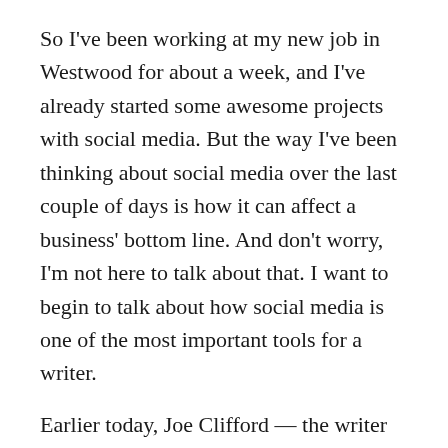So I've been working at my new job in Westwood for about a week, and I've already started some awesome projects with social media. But the way I've been thinking about social media over the last couple of days is how it can affect a business' bottom line. And don't worry, I'm not here to talk about that. I want to begin to talk about how social media is one of the most important tools for a writer.

Earlier today, Joe Clifford — the writer of Choice Cuts — posted a transcript of his interview at Digital Book Today. Well, it's a cool interview, and it's a bad-ass piece, where I even get a shout out. We were in his kitchen talking about writing and how the worst thing about